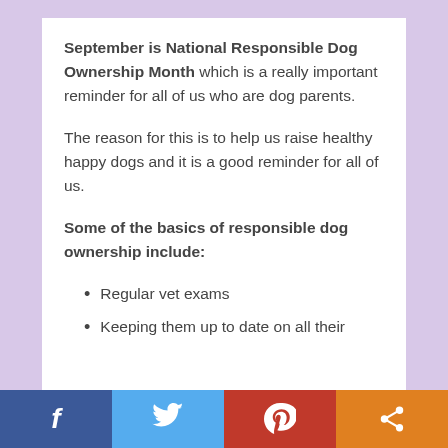September is National Responsible Dog Ownership Month which is a really important reminder for all of us who are dog parents.
The reason for this is to help us raise healthy happy dogs and it is a good reminder for all of us.
Some of the basics of responsible dog ownership include:
Regular vet exams
Keeping them up to date on all their
[Figure (other): Social media share bar with Facebook, Twitter, Pinterest, and share buttons]